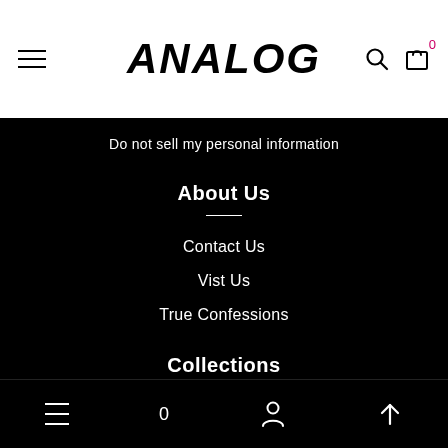ANALOG
Do not sell my personal information
About Us
Contact Us
Vist Us
True Confessions
Collections
Discord Components
Fifth Season
0